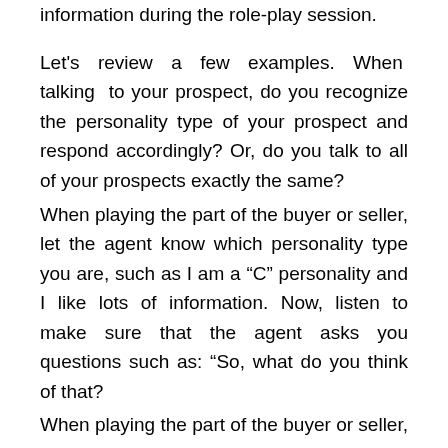information during the role-play session.
Let's review a few examples. When talking to your prospect, do you recognize the personality type of your prospect and respond accordingly? Or, do you talk to all of your prospects exactly the same?
When playing the part of the buyer or seller, let the agent know which personality type you are, such as I am a “C” personality and I like lots of information. Now, listen to make sure that the agent asks you questions such as: “So, what do you think of that?
When playing the part of the buyer or seller, you